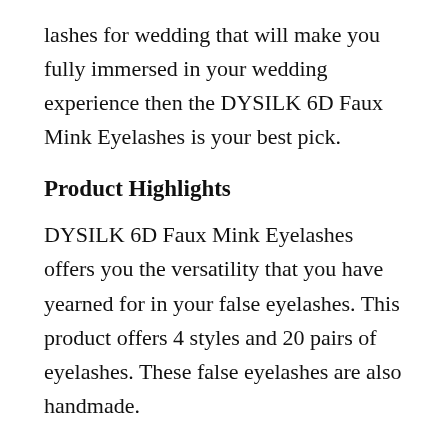lashes for wedding that will make you fully immersed in your wedding experience then the DYSILK 6D Faux Mink Eyelashes is your best pick.
Product Highlights
DYSILK 6D Faux Mink Eyelashes offers you the versatility that you have yearned for in your false eyelashes. This product offers 4 styles and 20 pairs of eyelashes. These false eyelashes are also handmade.